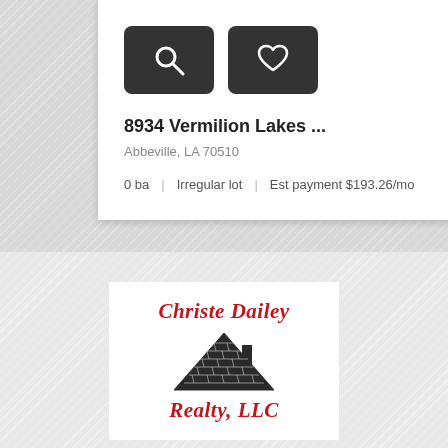[Figure (screenshot): Two dark rounded buttons with icons: a magnifying glass (search) and a heart (favorite)]
8934 Vermilion Lakes ...   $36,000
Abbeville, LA 70510
0 ba  |  Irregular lot  |  Est payment $193.26/mo
[Figure (logo): Christe Dailey Realty LLC logo with red italic text and a house icon with a shingled roof]